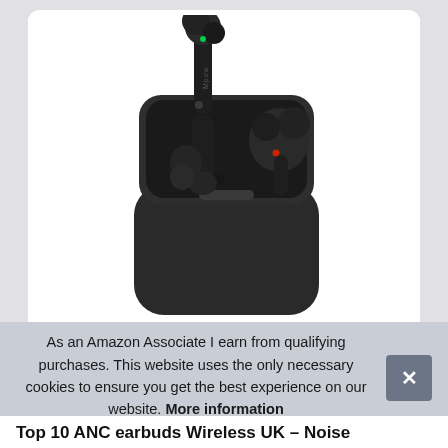[Figure (photo): Mpow brand black true wireless earbuds in open charging case, showing one earbud raised out of the case and another inside. The case is cylindrical/rounded black plastic. Green LED visible on left earbud stem, red LED on right earbud.]
As an Amazon Associate I earn from qualifying purchases. This website uses the only necessary cookies to ensure you get the best experience on our website. More information
Top 10 ANC earbuds Wireless UK – Noise